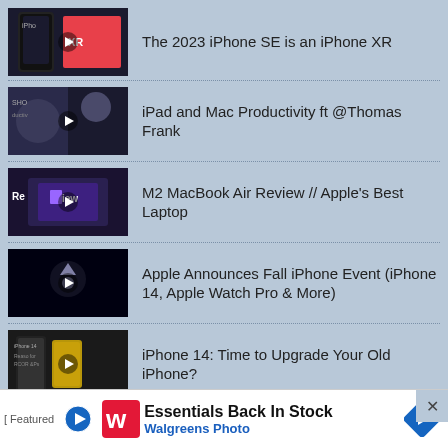The 2023 iPhone SE is an iPhone XR
iPad and Mac Productivity ft @Thomas Frank
M2 MacBook Air Review // Apple's Best Laptop
Apple Announces Fall iPhone Event (iPhone 14, Apple Watch Pro & More)
iPhone 14: Time to Upgrade Your Old iPhone?
Copyright © 2000-2022 MacRumors.com, LLC.
Privacy / DMCA contact / Affiliate and FTC Disclosure
Accessibility Statement
[Figure (screenshot): Advertisement banner: Essentials Back In Stock - Walgreens Photo, with play button and navigation arrow icons]